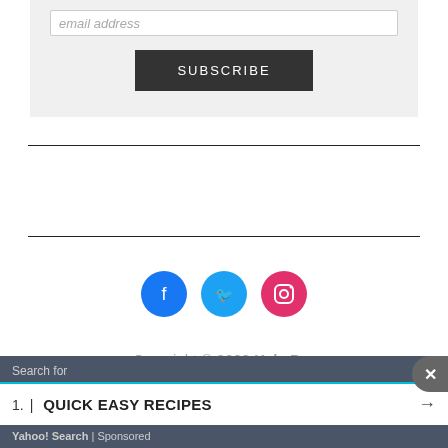email address
SUBSCRIBE
[Figure (other): Social media icons: Facebook (blue circle), Twitter (cyan circle), Instagram (pink circle)]
Copyright © 2022 Kale Pro
Search for
1. | QUICK EASY RECIPES →
Yahoo! Search | Sponsored